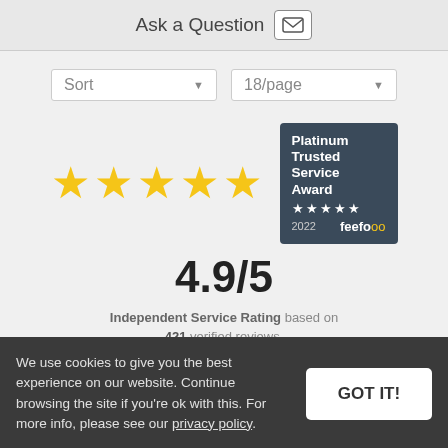Ask a Question
Sort | 18/page
[Figure (other): Five gold stars rating display with Platinum Trusted Service Award 2022 badge by feefo]
4.9/5
Independent Service Rating based on 421 verified reviews.
[Figure (logo): feefo logo with yellow circles]
Read all reviews
We use cookies to give you the best experience on our website. Continue browsing the site if you're ok with this. For more info, please see our privacy policy.